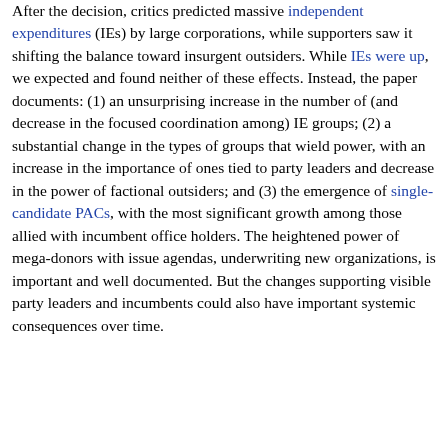After the decision, critics predicted massive independent expenditures (IEs) by large corporations, while supporters saw it shifting the balance toward insurgent outsiders. While IEs were up, we expected and found neither of these effects. Instead, the paper documents: (1) an unsurprising increase in the number of (and decrease in the focused coordination among) IE groups; (2) a substantial change in the types of groups that wield power, with an increase in the importance of ones tied to party leaders and decrease in the power of factional outsiders; and (3) the emergence of single-candidate PACs, with the most significant growth among those allied with incumbent office holders. The heightened power of mega-donors with issue agendas, underwriting new organizations, is important and well documented. But the changes supporting visible party leaders and incumbents could also have important systemic consequences over time.